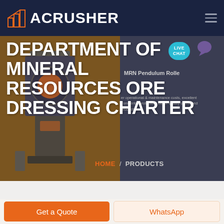ACRUSHER
[Figure (screenshot): Website screenshot of ACRUSHER company page showing hero section with industrial crusher machine, MRN Pendulum Roller text, and navigation breadcrumb HOME / PRODUCTS]
DEPARTMENT OF MINERAL RESOURCES ORE DRESSING CHARTER
MRN Pendulum Rolle
er operational & maintenance costs, excellent ironmental protection, better quality of finished products
HOME / PRODUCTS
Get a Quote
WhatsApp